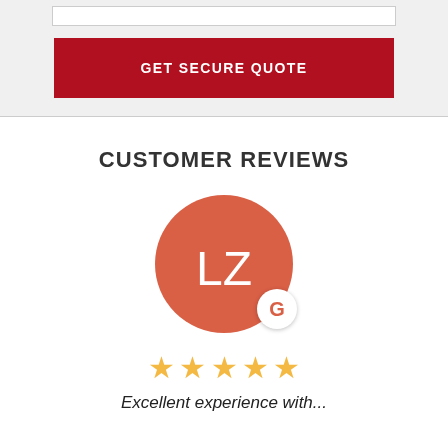[Figure (other): Red button labeled GET SECURE QUOTE on a light gray background with a white input bar above it]
CUSTOMER REVIEWS
[Figure (illustration): Circular avatar with initials LZ on a coral/red background, with a small Google G badge in the bottom right]
[Figure (other): Five gold star rating icons]
Excellent experience with...